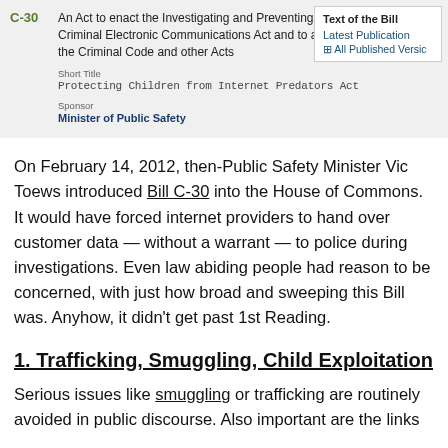| Bill | Title | Text of the Bill |
| --- | --- | --- |
| C-30 | An Act to enact the Investigating and Preventing Criminal Electronic Communications Act and to amend the Criminal Code and other Acts
Short Title: Protecting Children from Internet Predators Act
Sponsor: Minister of Public Safety | Latest Publication
All Published Versions |
On February 14, 2012, then-Public Safety Minister Vic Toews introduced Bill C-30 into the House of Commons. It would have forced internet providers to hand over customer data — without a warrant — to police during investigations. Even law abiding people had reason to be concerned, with just how broad and sweeping this Bill was. Anyhow, it didn't get past 1st Reading.
1. Trafficking, Smuggling, Child Exploitation
Serious issues like smuggling or trafficking are routinely avoided in public discourse. Also important are the links